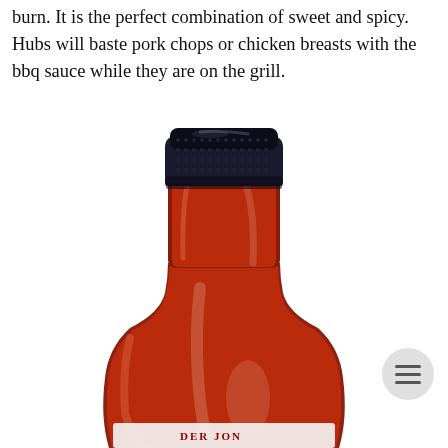burn. It is the perfect combination of sweet and spicy. Hubs will baste pork chops or chicken breasts with the bbq sauce while they are on the grill.
[Figure (photo): A glass bottle of BBQ sauce with a dark/black cap and dark red/brown sauce visible through the glass. The bottom of the label reads partial text that appears to start with letters. The bottle has a classic condiment bottle shape wider at the base.]